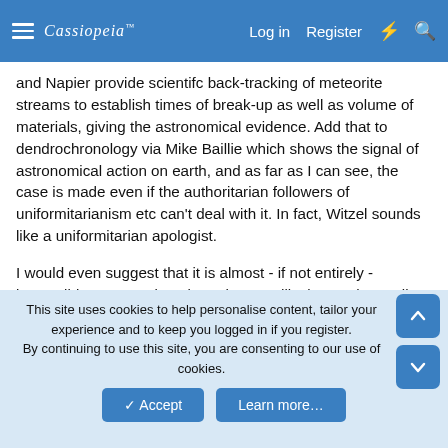Cassiopeia — Log in  Register
and Napier provide scientifc back-tracking of meteorite streams to establish times of break-up as well as volume of materials, giving the astronomical evidence. Add that to dendrochronology via Mike Baillie which shows the signal of astronomical action on earth, and as far as I can see, the case is made even if the authoritarian followers of uniformitarianism etc can't deal with it. In fact, Witzel sounds like a uniformitarian apologist.
I would even suggest that it is almost - if not entirely - impossible to get a clue about the antediluvian myths at all. The almost total destruction of life on earth 13000 years ago changed the game not to mention the first appearance in the solar system of the giant comet which could have been as
This site uses cookies to help personalise content, tailor your experience and to keep you logged in if you register.
By continuing to use this site, you are consenting to our use of cookies.
Accept   Learn more…